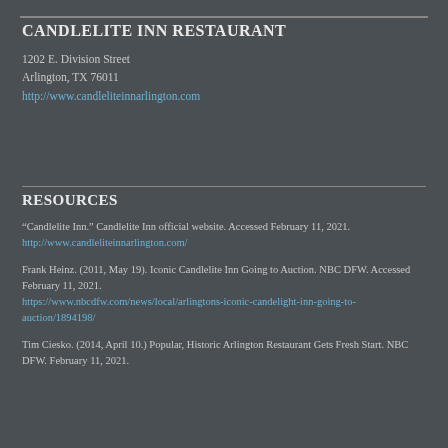CANDLELITE INN RESTAURANT
1202 E. Division Street
Arlington, TX 76011
http://www.candleliteinnarlington.com
RESOURCES
“Candlelite Inn.” Candlelite Inn official website. Accessed February 11, 2021. http://www.candleliteinnarlington.com/
Frank Heinz. (2011, May 19). Iconic Candlelite Inn Going to Auction. NBC DFW. Accessed February 11, 2021. https://www.nbcdfw.com/news/local/arlingtons-iconic-candelight-inn-going-to-auction/1894198/
Tim Ciesko. (2014, April 10.) Popular, Historic Arlington Restaurant Gets Fresh Start. NBC DFW. February 11, 2021.